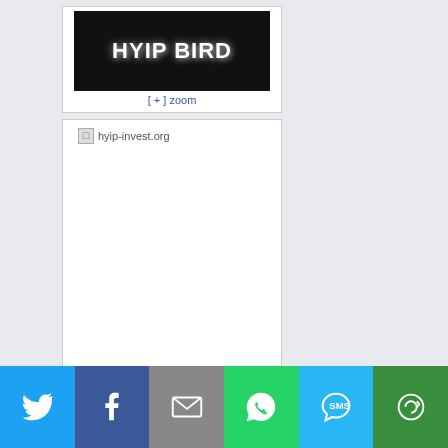[Figure (logo): HYIP BIRD logo - dark background with white stylized text]
[ + ] zoom
[Figure (logo): hyip-invest.org broken image placeholder]
[ + ] zoom
[Figure (logo): GHYIPs logo - orange gradient G letter with HYIPs text, orange border, yellow bottom section with dashed separator]
[Figure (infographic): Social sharing bar with Twitter, Facebook, Email, WhatsApp, SMS, and More buttons]